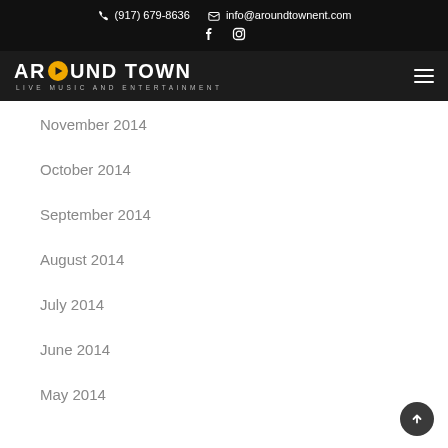(917) 679-8636  info@aroundtownent.com
[Figure (logo): Around Town Live Music and Entertainment logo with circular play button icon in yellow]
November 2014
October 2014
September 2014
August 2014
July 2014
June 2014
May 2014